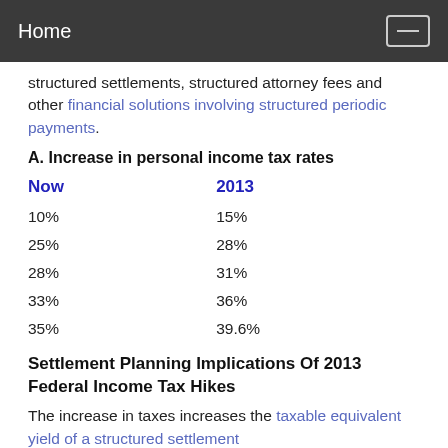Home
structured settlements, structured attorney fees and other financial solutions involving structured periodic payments.
A. Increase in personal income tax rates
| Now | 2013 |
| --- | --- |
| 10% | 15% |
| 25% | 28% |
| 28% | 31% |
| 33% | 36% |
| 35% | 39.6% |
Settlement Planning Implications Of 2013 Federal Income Tax Hikes
The increase in taxes increases the taxable equivalent yield of a structured settlement